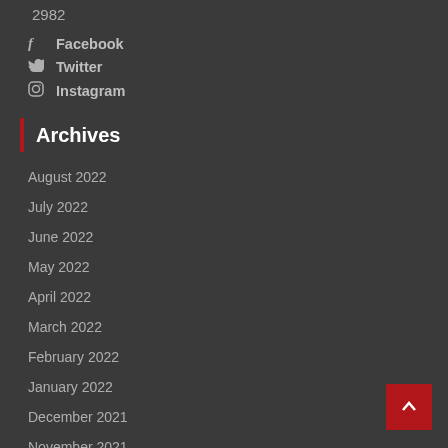2982
Facebook
Twitter
Instagram
Archives
August 2022
July 2022
June 2022
May 2022
April 2022
March 2022
February 2022
January 2022
December 2021
November 2021
October 2021